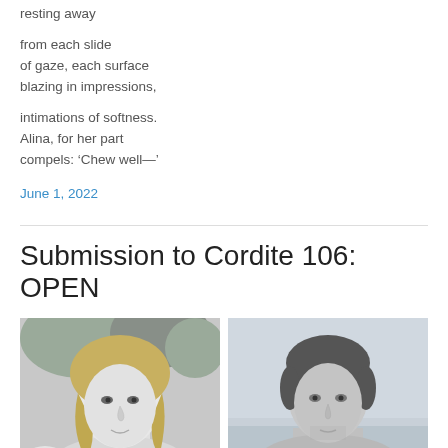resting away

from each slide
of gaze, each surface
blazing in impressions,

intimations of softness.
Alina, for her part
compels: ‘Chew well—’
June 1, 2022
Submission to Cordite 106: OPEN
[Figure (photo): Black and white photograph of a young woman with long blonde hair, smiling slightly, outdoors with trees in the background.]
[Figure (photo): Black and white photograph of a man with short dark hair, looking at the camera, with a light sky and water in the background.]